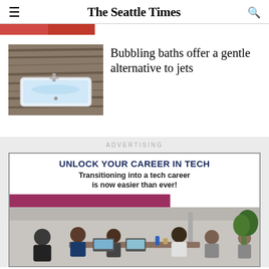The Seattle Times
[Figure (photo): Partial thumbnail of a colorful image at the top strip]
[Figure (photo): Bathtub with water faucet against wood-paneled wall]
Bubbling baths offer a gentle alternative to jets
ADVERTISING
[Figure (infographic): Advertisement: UNLOCK YOUR CAREER IN TECH. Transitioning into a tech career is now easier than ever! Image of people sitting around a table in an office setting.]